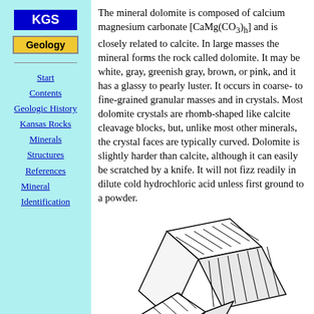[Figure (logo): KGS blue logo box with white bold text]
[Figure (logo): Geology button with yellow/gold background and black bold text]
Start
Contents
Geologic History
Kansas Rocks
Minerals
Structures
References
Mineral Identification
The mineral dolomite is composed of calcium magnesium carbonate [CaMg(CO3)h] and is closely related to calcite. In large masses the mineral forms the rock called dolomite. It may be white, gray, greenish gray, brown, or pink, and it has a glassy to pearly luster. It occurs in coarse- to fine-grained granular masses and in crystals. Most dolomite crystals are rhomb-shaped like calcite cleavage blocks, but, unlike most other minerals, the crystal faces are typically curved. Dolomite is slightly harder than calcite, although it can easily be scratched by a knife. It will not fizz readily in dilute cold hydrochloric acid unless first ground to a powder.
[Figure (illustration): Line drawing illustration of dolomite crystal showing rhomb shape with curved faces and parallel ruled hatching]